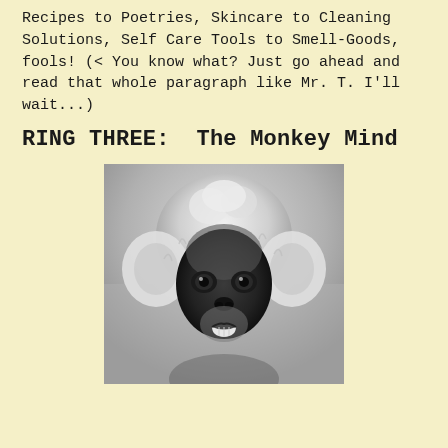Recipes to Poetries, Skincare to Cleaning Solutions, Self Care Tools to Smell-Goods, fools! (< You know what? Just go ahead and read that whole paragraph like Mr. T. I'll wait...)
RING THREE:  The Monkey Mind
[Figure (photo): Black and white close-up photograph of a monkey (langur) with a white fluffy head, large dark eyes, and teeth slightly showing, looking directly at the camera.]